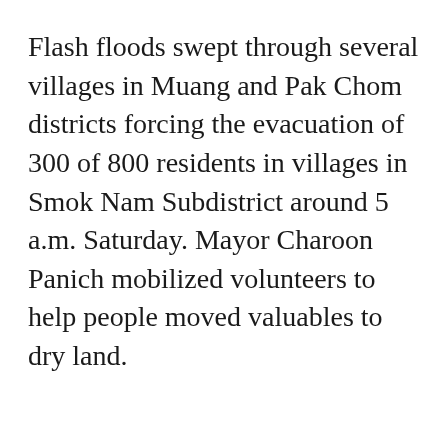Flash floods swept through several villages in Muang and Pak Chom districts forcing the evacuation of 300 of 800 residents in villages in Smok Nam Subdistrict around 5 a.m. Saturday. Mayor Charoon Panich mobilized volunteers to help people moved valuables to dry land.